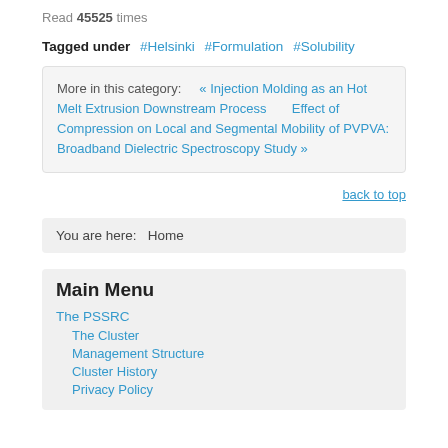Read 45525 times
Tagged under  #Helsinki  #Formulation  #Solubility
More in this category:   « Injection Molding as an Hot Melt Extrusion Downstream Process        Effect of Compression on Local and Segmental Mobility of PVPVA: Broadband Dielectric Spectroscopy Study »
back to top
You are here:   Home
Main Menu
The PSSRC
The Cluster
Management Structure
Cluster History
Privacy Policy